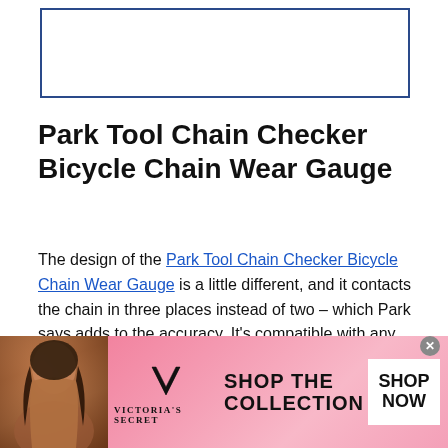[Figure (other): Empty rectangular advertisement placeholder box with blue border]
Park Tool Chain Checker Bicycle Chain Wear Gauge
The design of the Park Tool Chain Checker Bicycle Chain Wear Gauge is a little different, and it contacts the chain in three places instead of two – which Park says adds to the accuracy. It's compatible with any derailleur chain—including the new Sram eTap AXS—to determine when a chain gets to .5 to .75 percent wear.
[Figure (photo): Victoria's Secret advertisement banner with model photo on left, VS logo and brand name in center, SHOP THE COLLECTION text, and SHOP NOW button on right]